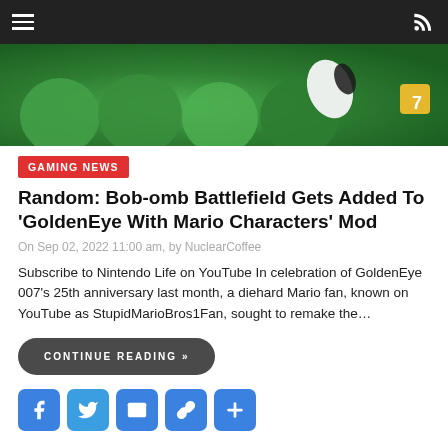Navigation bar with hamburger menu and RSS icon
[Figure (photo): Game screenshot showing green characters from what appears to be a Mario-themed GoldenEye mod, with a '7' visible in the corner]
GAMING NEWS
Random: Bob-omb Battlefield Gets Added To 'GoldenEye With Mario Characters' Mod
On Sep 02, 2022 11:00 am, by NuclearCoffee
Subscribe to Nintendo Life on YouTube In celebration of GoldenEye 007's 25th anniversary last month, a diehard Mario fan, known on YouTube as StupidMarioBros1Fan, sought to remake the…
CONTINUE READING »
[Figure (infographic): Social share buttons: Facebook, Twitter, Email, Share link, More (plus icon)]